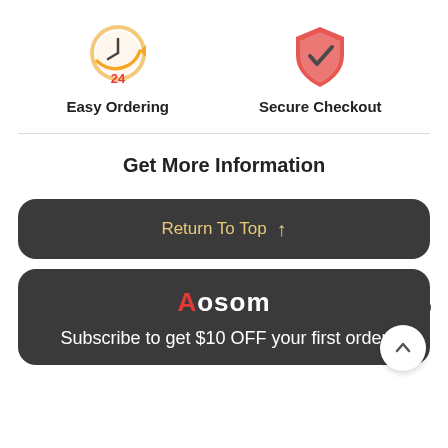[Figure (illustration): Clock with '24' in red below, with orange circular arrows — Easy Ordering icon]
Easy Ordering
[Figure (illustration): Red shield with a checkmark — Secure Checkout icon]
Secure Checkout
Get More Information
Return To Top ↑
[Figure (illustration): Headset/support icon]
Aosom
Subscribe to get $10 OFF your first order